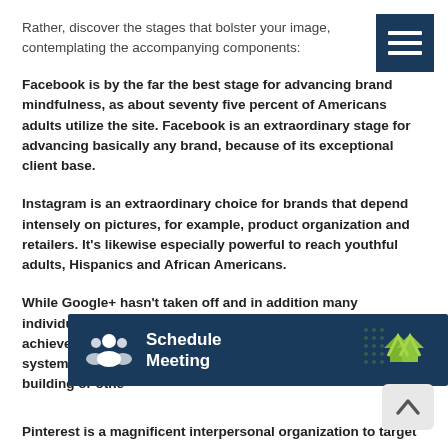Rather, discover the stages that bolster your image, contemplating the accompanying components:
Facebook is by the far the best stage for advancing brand mindfulness, as about seventy five percent of Americans adults utilize the site. Facebook is an extraordinary stage for advancing basically any brand, because of its exceptional client base.
Instagram is an extraordinary choice for brands that depend intensely on pictures, for example, product organization and retailers. It’s likewise especially powerful to reach youthful adults, Hispanics and African Americans.
While Google+ hasn’t taken off and in addition many individuals anticipated, it can be an extraordinary stage to achieve men in the innovation business, as 66% of the system’s clients are male, a greater part of whom work in building or othe
[Figure (infographic): Schedule Meeting banner with dark navy background, group icon on left, green arrow chevrons on right]
Pinterest is a magnificent interpersonal organization to target